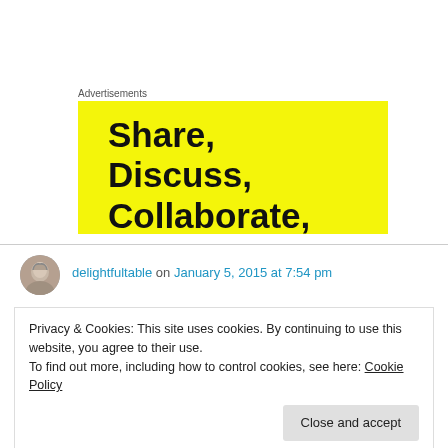Advertisements
[Figure (illustration): Yellow advertisement banner with bold black text reading: Share, Discuss, Collaborate, Do]
delightfultable on January 5, 2015 at 7:54 pm
Privacy & Cookies: This site uses cookies. By continuing to use this website, you agree to their use.
To find out more, including how to control cookies, see here: Cookie Policy
Close and accept